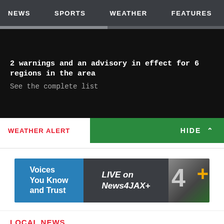NEWS  SPORTS  WEATHER  FEATURES  CW1
2 warnings and an advisory in effect for 6 regions in the area
See the complete list
WEATHER ALERT  HIDE ^
[Figure (illustration): Advertisement banner: 'Voices You Know and Trust  LIVE on News4JAX+'  with News4JAX+ logo showing a '4+' in grey and gold]
LOCAL NEWS
Woman gunned down next to gas pump on Lem